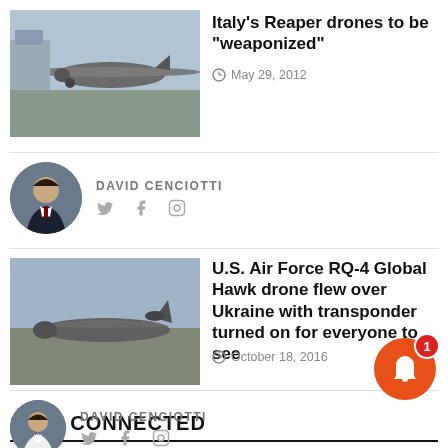Italy's Reaper drones to be "weaponized"
May 29, 2012
DAVID CENCIOTTI
U.S. Air Force RQ-4 Global Hawk drone flew over Ukraine with transponder turned on for everyone to see
October 18, 2016
DAVID CENCIOTTI
STAY CONNECTED